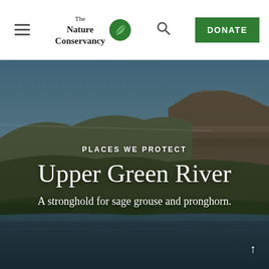The Nature Conservancy – Navigation bar with hamburger menu, logo, search icon, and DONATE button
[Figure (photo): Landscape photo of the Upper Green River area: a wide river in the foreground with green bank vegetation, rugged mesa/butte landforms with layered sedimentary rock in the middle ground, and a blue sky above. The scene is somewhat darkened by an overlay.]
PLACES WE PROTECT
Upper Green River
A stronghold for sage grouse and pronghorn.